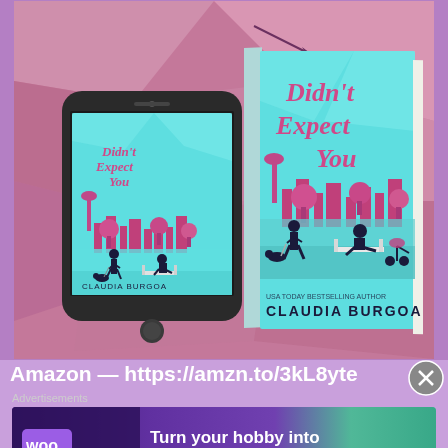[Figure (photo): Promotional image showing a book and phone mockup for 'Didn't Expect You' by Claudia Burgoa. The book cover features a teal/aqua background with pink illustrated silhouettes of a city skyline, trees, a person walking a dog, and a woman sitting on a bench with a stroller. The phone displays the same cover art. Background is pink/mauve geometric shapes.]
Amazon — https://amzn.to/3kL8yte
Advertisements
[Figure (screenshot): WooCommerce advertisement banner. Dark purple/teal gradient background. WooCommerce logo on left (white text on dark purple). Text reads: Turn your hobby into a business in 8 steps]